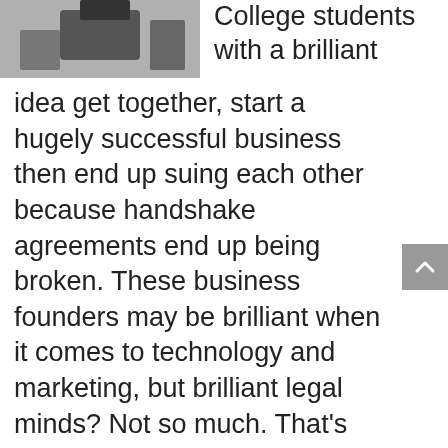[Figure (photo): Partial photo showing people at a desk, cropped at top of page]
College students with a brilliant idea get together, start a hugely successful business then end up suing each other because handshake agreements end up being broken. These business founders may be brilliant when it comes to technology and marketing, but brilliant legal minds? Not so much. That's why contracts are needed so the business founders know their rights and responsibilities towards each other and the business.
Whether the companies are Mom & Pop...